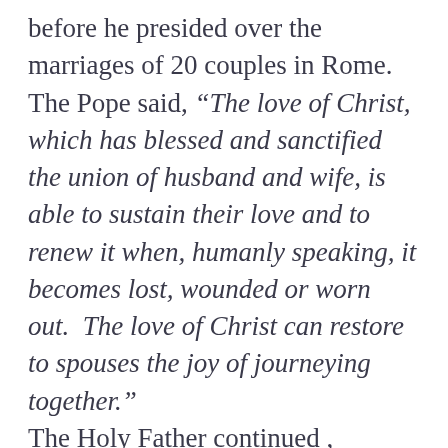before he presided over the marriages of 20 couples in Rome.  The Pope said, “The love of Christ, which has blessed and sanctified the union of husband and wife, is able to sustain their love and to renew it when, humanly speaking, it becomes lost, wounded or worn out.  The love of Christ can restore to spouses the joy of journeying together.”

The Holy Father continued , “Marriage is about a man and a